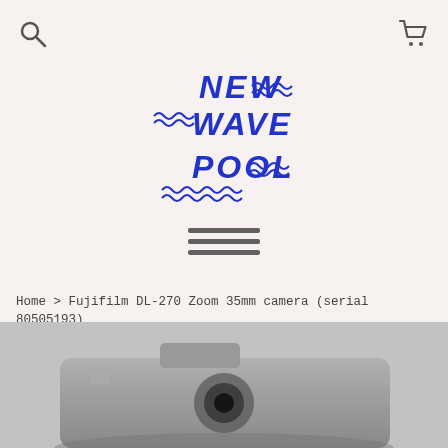[Search icon] [Cart icon]
[Figure (logo): New Wave Pool logo in blue hand-drawn lettering with wave decorations]
[Figure (other): Hamburger menu icon with three horizontal lines]
Home > Fujifilm DL-270 Zoom 35mm camera (serial 80505193)
[Figure (photo): Photo of a Fujifilm DL-270 Zoom 35mm camera on a light gray background, camera body partially visible]